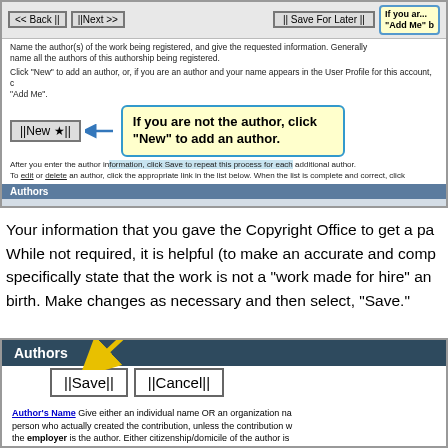[Figure (screenshot): Screenshot of a copyright registration form showing navigation buttons (Back, Next, Save For Later), author entry instructions, a New button with an arrow and tooltip saying 'If you are not the author, click New to add an author.', and an Authors table header with columns: Name, Organization Name, Doing Business As, Work For Hire, Anonymous, Pseudonym.]
Your information that you gave the Copyright Office to get a pa... While not required, it is helpful (to make an accurate and comp... specifically state that the work is not a 'work made for hire' an... birth. Make changes as necessary and then select, 'Save.'
[Figure (screenshot): Screenshot showing Authors section header in dark blue, Save and Cancel buttons with a yellow arrow pointing to Save, and Author's Name field description text: 'Give either an individual name OR an organization na... person who actually created the contribution, unless the contribution w... the employer is the author. Either citizenship/domicile of the author is...' and 'Individual author' text at the bottom.]